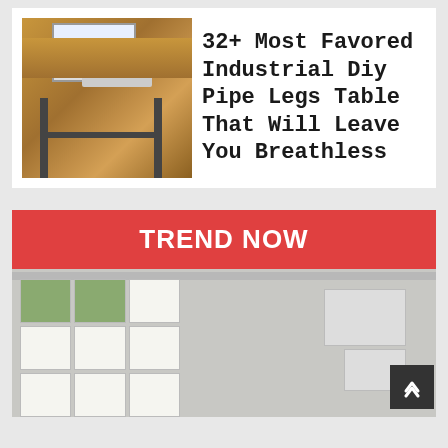[Figure (photo): Photo of an industrial DIY pipe legs desk with wooden top and black metal pipe legs, with a computer monitor and keyboard on top]
32+ Most Favored Industrial Diy Pipe Legs Table That Will Leave You Breathless
TREND NOW
[Figure (photo): Interior photo of a modern room with white open shelving units filled with books, plants and decorative items, and wall-mounted cabinets, with exposed ceiling beams]